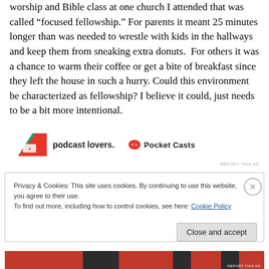worship and Bible class at one church I attended that was called “focused fellowship.” For parents it meant 25 minutes longer than was needed to wrestle with kids in the hallways and keep them from sneaking extra donuts.  For others it was a chance to warm their coffee or get a bite of breakfast since they left the house in such a hurry. Could this environment be characterized as fellowship? I believe it could, just needs to be a bit more intentional.
[Figure (other): Advertisement banner for Pocket Casts podcast app with logo and text 'podcast lovers.']
Privacy & Cookies: This site uses cookies. By continuing to use this website, you agree to their use.
To find out more, including how to control cookies, see here: Cookie Policy
Close and accept